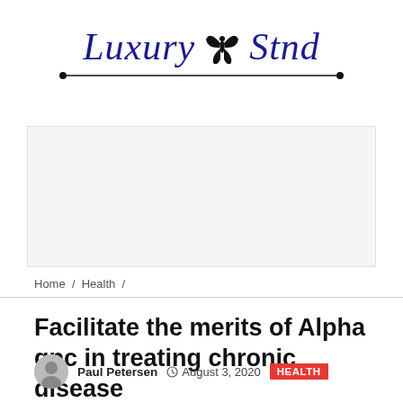[Figure (logo): Luxury Stnd website logo with decorative butterfly/floral emblem between words, italic serif text in dark blue, horizontal line with bullet endpoints below]
[Figure (other): Blank/advertisement banner placeholder area with light gray background]
Home / Health /
Facilitate the merits of Alpha gpc in treating chronic disease
Paul Petersen  August 3, 2020  HEALTH